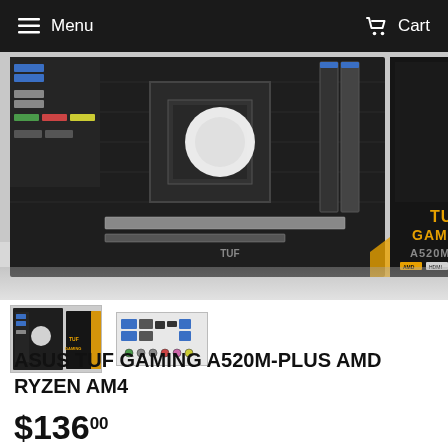Menu   Cart
[Figure (photo): ASUS TUF GAMING A520M-PLUS AMD motherboard shown alongside its retail box with TUF GAMING A520M-PLUS branding in gold lettering on dark background]
[Figure (photo): Thumbnail 1: ASUS TUF GAMING A520M-PLUS motherboard with retail box]
[Figure (photo): Thumbnail 2: I/O panel rear of the ASUS TUF GAMING A520M-PLUS motherboard showing ports]
ASUS TUF GAMING A520M-PLUS AMD RYZEN AM4
$136.00